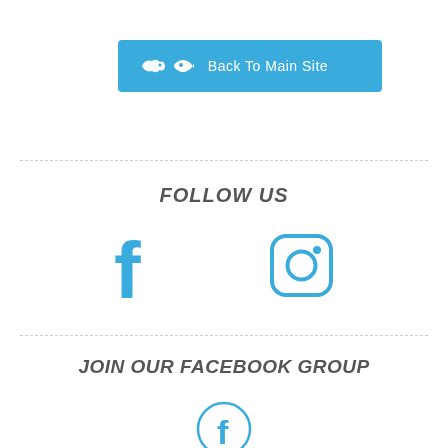[Figure (other): Blue button with fish icon and text 'Back To Main Site']
FOLLOW US
[Figure (other): Facebook icon (f) and Instagram icon side by side in blue]
JOIN OUR FACEBOOK GROUP
[Figure (other): Facebook icon inside a circle outline in blue]